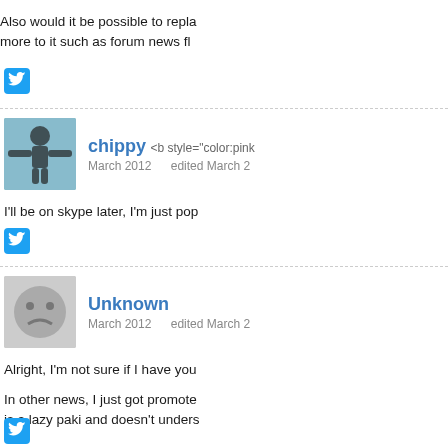Also would it be possible to repla more to it such as forum news fl
[Figure (other): Twitter share button (blue bird icon)]
chippy <b style="color:pink ...  March 2012  edited March 2
I'll be on skype later, I'm just pop
[Figure (other): Twitter share button (blue bird icon)]
Unknown  March 2012  edited March 2
Alright, I'm not sure if I have you
In other news, I just got promote is a lazy paki and doesn't unders
[Figure (other): Twitter share button (blue bird icon)]
Pfg  Admin